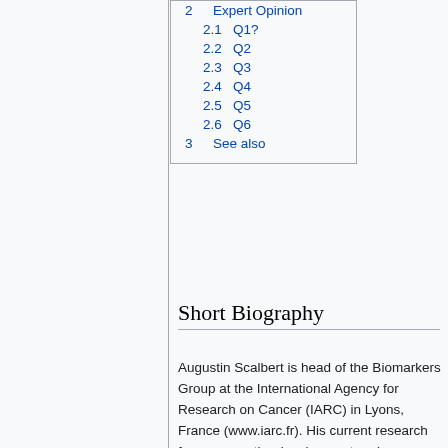2  Expert Opinion
2.1  Q1?
2.2  Q2
2.3  Q3
2.4  Q4
2.5  Q5
2.6  Q6
3  See also
Short Biography
Augustin Scalbert is head of the Biomarkers Group at the International Agency for Research on Cancer (IARC) in Lyons, France (www.iarc.fr). His current research focusses on the development and implementation of metabolomic approaches in cancer epidemiology. Main objectives of his group are to discover novel biomarkers